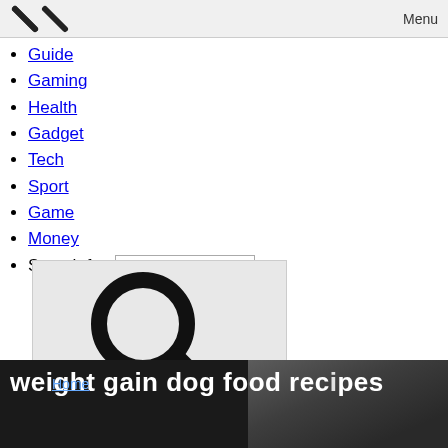[Figure (screenshot): Menu bar with chevron/close icon on left and 'Menu' label on right]
Guide
Gaming
Health
Gadget
Tech
Sport
Game
Money
Search for:  [Search ...]
[Figure (screenshot): Search button box with large magnifying glass icon and 'Search' label]
[Figure (screenshot): Dark banner image with text 'weight gain dog food recipes' overlaid and a blurred person photo on right, with 'Home' link below]